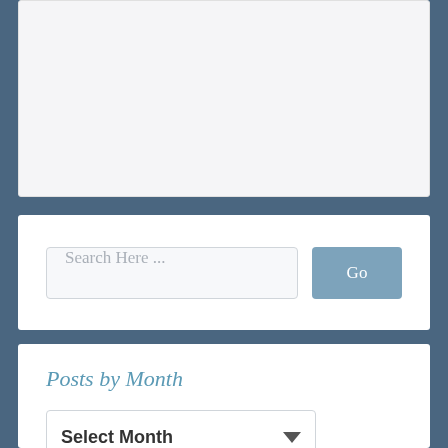[Figure (screenshot): White/light gray card area at the top, partially visible, representing content area of a webpage]
Search Here ...
Go
Posts by Month
Select Month